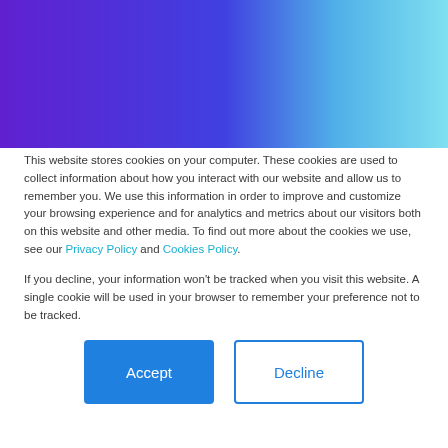[Figure (illustration): Purple to cyan gradient banner background spanning the top portion of the page]
This website stores cookies on your computer. These cookies are used to collect information about how you interact with our website and allow us to remember you. We use this information in order to improve and customize your browsing experience and for analytics and metrics about our visitors both on this website and other media. To find out more about the cookies we use, see our Privacy Policy and Cookies Policy.
If you decline, your information won't be tracked when you visit this website. A single cookie will be used in your browser to remember your preference not to be tracked.
Accept
Decline